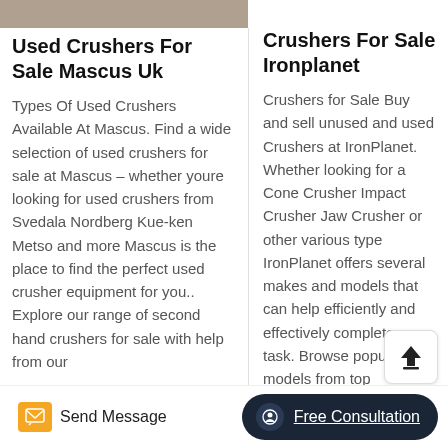[Figure (photo): Partial photo visible at top of left column, showing a textured surface (likely a crusher or machinery).]
Used Crushers For Sale Mascus Uk
Types Of Used Crushers Available At Mascus. Find a wide selection of used crushers for sale at Mascus – whether youre looking for used crushers from Svedala Nordberg Kue-ken Metso and more Mascus is the place to find the perfect used crusher equipment for you.. Explore our range of second hand crushers for sale with help from our
Crushers For Sale Ironplanet
Crushers for Sale Buy and sell unused and used Crushers at IronPlanet. Whether looking for a Cone Crusher Impact Crusher Jaw Crusher or other various type IronPlanet offers several makes and models that can help efficiently and effectively complete your task. Browse popular models from top manufacturers including Cedarapids